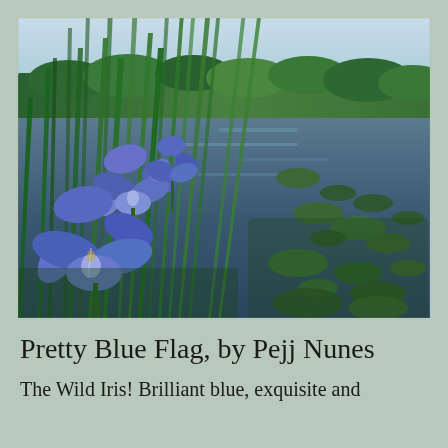[Figure (photo): A nature photograph of wild blue iris flowers (Blue Flag Iris) growing among tall green reeds at the edge of a pond or wetland. The blue-purple flowers are prominent on the left side, with lush green cattail-like foliage. The water reflects the blue sky and shows lily pads and aquatic plants. Trees line the far shore under a bright sky.]
Pretty Blue Flag, by Pejj Nunes
The Wild Iris! Brilliant blue, exquisite and